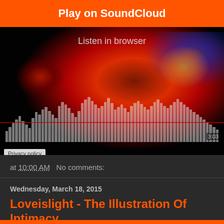[Figure (screenshot): SoundCloud embedded player with orange 'Play on SoundCloud' button, 'Listen in browser' text, abstract colorful artwork background with waveform visualization, privacy policy label, and time label 3:03]
at 10:00 AM   No comments:
Wednesday, March 18, 2015
Loveislight - The Illustration Of Intimacy